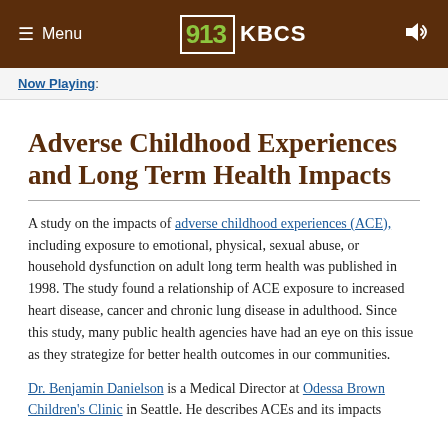≡ Menu  91.3 KBCS  [speaker icon]
Now Playing:
Adverse Childhood Experiences and Long Term Health Impacts
A study on the impacts of adverse childhood experiences (ACE), including exposure to emotional, physical, sexual abuse, or household dysfunction on adult long term health was published in 1998.  The study found a relationship of ACE exposure to increased heart disease, cancer and chronic lung disease in adulthood.  Since this study, many public health agencies have had an eye on this issue as they strategize for better health outcomes in our communities.
Dr. Benjamin Danielson is a Medical Director at Odessa Brown Children's Clinic in Seattle.  He describes ACEs and its impacts